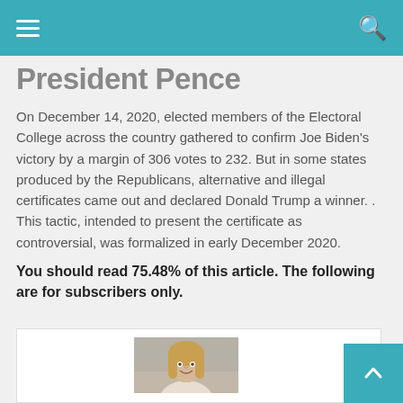Navigation bar with hamburger menu and search icon
President Pence
On December 14, 2020, elected members of the Electoral College across the country gathered to confirm Joe Biden's victory by a margin of 306 votes to 232. But in some states produced by the Republicans, alternative and illegal certificates came out and declared Donald Trump a winner. . This tactic, intended to present the certificate as controversial, was formalized in early December 2020.
You should read 75.48% of this article. The following are for subscribers only.
[Figure (photo): Photo of a woman with long blonde hair wearing a light-colored top, smiling, with an urban background]